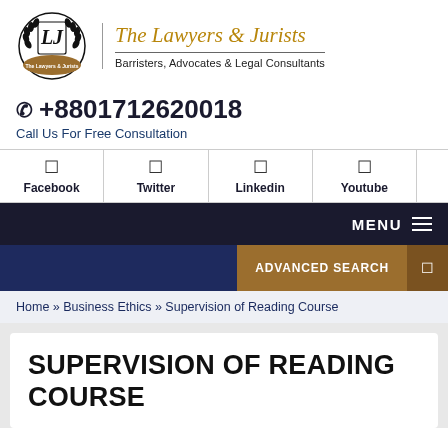[Figure (logo): The Lawyers & Jurists circular emblem logo with laurel wreath and LJ monogram]
The Lawyers & Jurists
Barristers, Advocates & Legal Consultants
+8801712620018
Call Us For Free Consultation
Facebook | Twitter | Linkedin | Youtube
MENU
ADVANCED SEARCH
Home » Business Ethics » Supervision of Reading Course
SUPERVISION OF READING COURSE